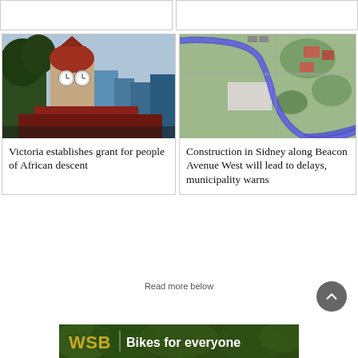[Figure (photo): Partial top-left card placeholder]
[Figure (photo): Partial top-right card placeholder]
[Figure (photo): Photo of a clock tower with red dome and modern buildings behind it — Victoria/Australian architecture]
Victoria establishes grant for people of African descent
[Figure (map): Aerial map view showing construction along Beacon Avenue West, with blue route highlighted]
Construction in Sidney along Beacon Avenue West will lead to delays, municipality warns
Read more below
[Figure (logo): WSB Bikes for everyone advertisement banner]